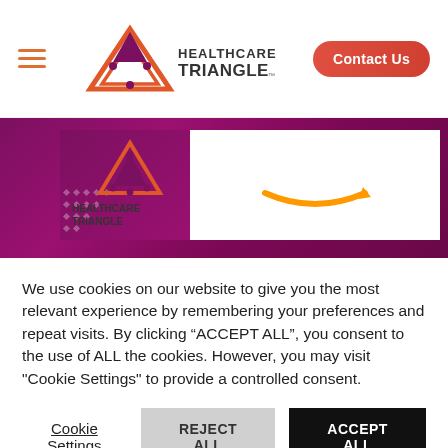[Figure (logo): Healthcare Triangle logo with triangle graphic and text, plus hamburger menu and Contact Us button]
[Figure (photo): Banner showing Healthcare Triangle and Amazon logos on a purple/magenta gradient background]
We use cookies on our website to give you the most relevant experience by remembering your preferences and repeat visits. By clicking “ACCEPT ALL”, you consent to the use of ALL the cookies. However, you may visit "Cookie Settings" to provide a controlled consent.
Cookie Settings
REJECT ALL
ACCEPT ALL